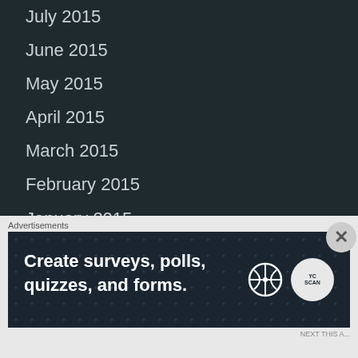July 2015
June 2015
May 2015
April 2015
March 2015
February 2015
January 2015
December 2014
November 2014
October 2014
September 2014
August 2014
July 2014
RSS FEEDS
[Figure (other): Advertisement banner: 'Create surveys, polls, quizzes, and forms.' with WordPress and YC logos, close button overlay]